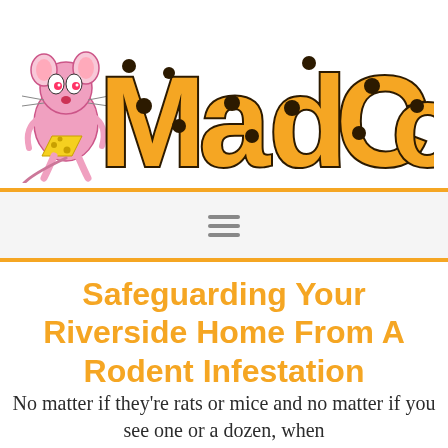[Figure (logo): MadCo pest control logo featuring orange polka-dotted block letters spelling 'MadCo' with a cartoon pink mouse/rat character peeking from the left side of the M]
Safeguarding Your Riverside Home From A Rodent Infestation
No matter if they’re rats or mice and no matter if you see one or a dozen, when